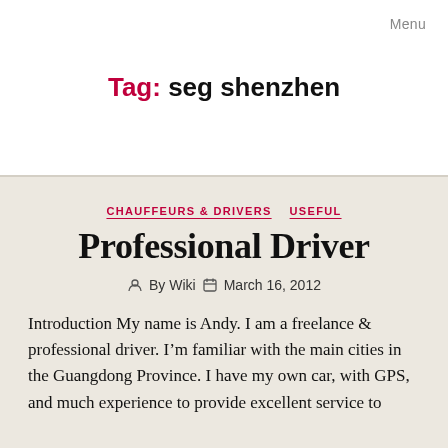Menu
Tag: seg shenzhen
CHAUFFEURS & DRIVERS   USEFUL
Professional Driver
By Wiki   March 16, 2012
Introduction My name is Andy. I am a freelance & professional driver. I'm familiar with the main cities in the Guangdong Province. I have my own car, with GPS, and much experience to provide excellent service to